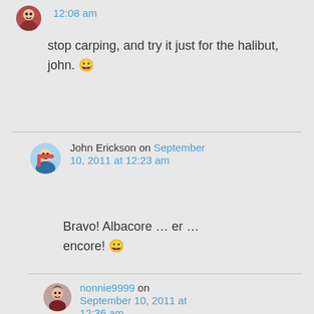12:08 am
stop carping, and try it just for the halibut, john. 😀
John Erickson on September 10, 2011 at 12:23 am
Bravo! Albacore … er … encore! 😀
nonnie9999 on September 10, 2011 at 12:36 am
can't think. i'm just